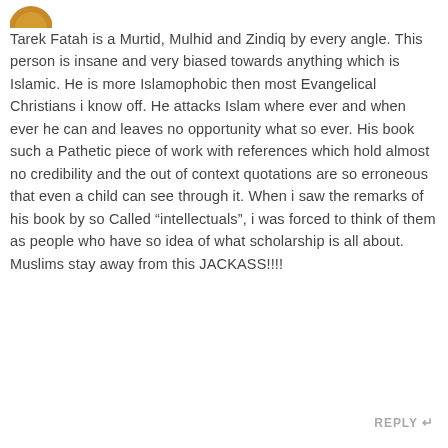[Figure (illustration): Partial view of a circular avatar icon with golden/orange color at top left]
Tarek Fatah is a Murtid, Mulhid and Zindiq by every angle. This person is insane and very biased towards anything which is Islamic. He is more Islamophobic then most Evangelical Christians i know off. He attacks Islam where ever and when ever he can and leaves no opportunity what so ever. His book such a Pathetic piece of work with references which hold almost no credibility and the out of context quotations are so erroneous that even a child can see through it. When i saw the remarks of his book by so Called “intellectuals”, i was forced to think of them as people who have so idea of what scholarship is all about. Muslims stay away from this JACKASS!!!!
REPLY